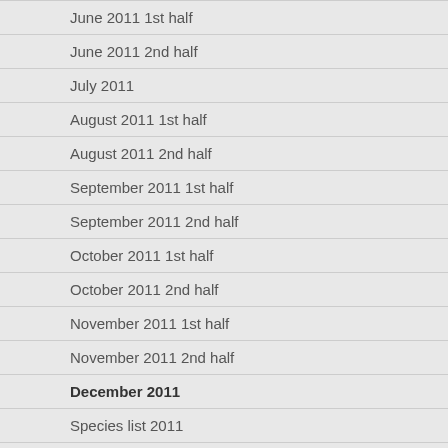June 2011 1st half
June 2011 2nd half
July 2011
August 2011 1st half
August 2011 2nd half
September 2011 1st half
September 2011 2nd half
October 2011 1st half
October 2011 2nd half
November 2011 1st half
November 2011 2nd half
December 2011
Species list 2011
Latest sightings 2012
Latest sightings 2013
Latest sightings 2014
Latest sightings 2015
Latest sightings 2016